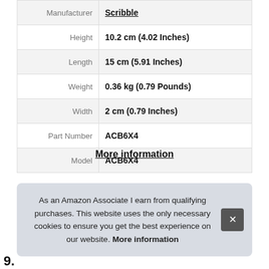| Manufacturer | Scribble |
| Height | 10.2 cm (4.02 Inches) |
| Length | 15 cm (5.91 Inches) |
| Weight | 0.36 kg (0.79 Pounds) |
| Width | 2 cm (0.79 Inches) |
| Part Number | ACB6X4 |
| Model | ACB6X4 |
More information
As an Amazon Associate I earn from qualifying purchases. This website uses the only necessary cookies to ensure you get the best experience on our website. More information
9.